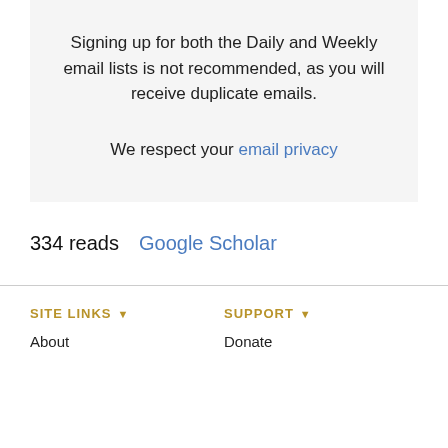Signing up for both the Daily and Weekly email lists is not recommended, as you will receive duplicate emails.

We respect your email privacy
334 reads   Google Scholar
SITE LINKS ▼   SUPPORT ▼   About   Donate